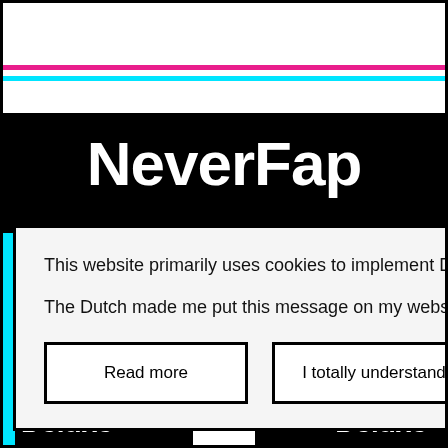NeverFap
This website primarily uses cookies to implement Dark Mode.

The Dutch made me put this message on my website. 🇳🇱🔪👱‍♀️
Read more
I totally understand
Deluxe
Deluxe